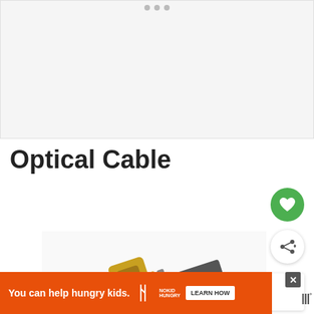[Figure (photo): Light grey image placeholder area at top of page with navigation dots]
Optical Cable
[Figure (photo): Close-up photo of gold-tipped optical cable connector]
[Figure (other): WHAT'S NEXT panel: Can You Use HDMI And...]
You can help hungry kids. NOKID HUNGRY LEARN HOW